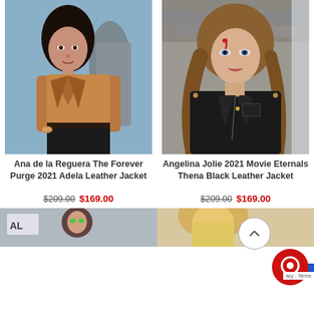[Figure (photo): Ana de la Reguera wearing a brown leather jacket in a movie scene from The Forever Purge 2021]
[Figure (photo): Angelina Jolie wearing a black leather jacket with battle makeup in Eternals 2021 movie]
Ana de la Reguera The Forever Purge 2021 Adela Leather Jacket
$209.00  $169.00
Angelina Jolie 2021 Movie Eternals Thena Black Leather Jacket
$209.00  $169.00
[Figure (photo): Bottom left partially visible product photo with AL text visible]
[Figure (photo): Bottom right partially visible product photo showing blonde hair]